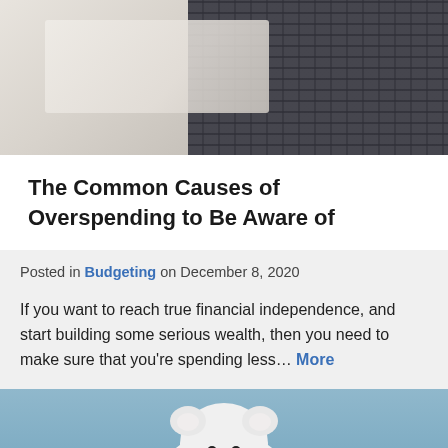[Figure (photo): Photo of a person near a laptop computer with a keyboard visible, overhead/top-down view]
The Common Causes of Overspending to Be Aware of
Posted in Budgeting on December 8, 2020
If you want to reach true financial independence, and start building some serious wealth, then you need to make sure that you're spending less… More
[Figure (photo): Photo of a person in a blue sweater holding a white ceramic piggy bank facing the camera]